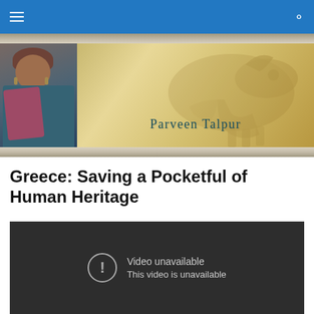Navigation bar with menu and search icons
[Figure (photo): Website banner for Parveen Talpur blog. Left side shows a photo of a woman with reddish-brown hair, wearing a teal jacket and pink scarf with earrings. Right side has a golden/sandy relief background with an animal figure (bull) engraved, and the text 'Parveen Talpur' in teal serif font.]
Greece: Saving a Pocketful of Human Heritage
[Figure (screenshot): YouTube video embed showing 'Video unavailable – This video is unavailable' error message on a dark background.]